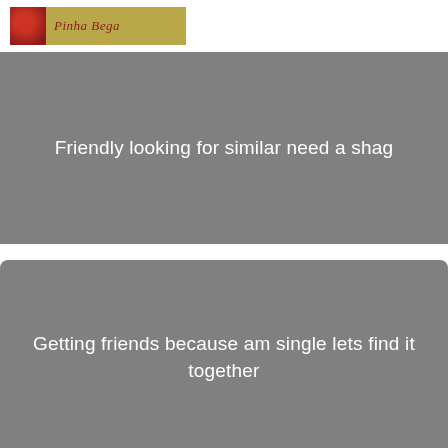[Figure (logo): Logo with red/dark image on left and olive/gold colored text area with italic cursive text on right]
Friendly looking for similar need a shag
Getting friends because am single lets find it together